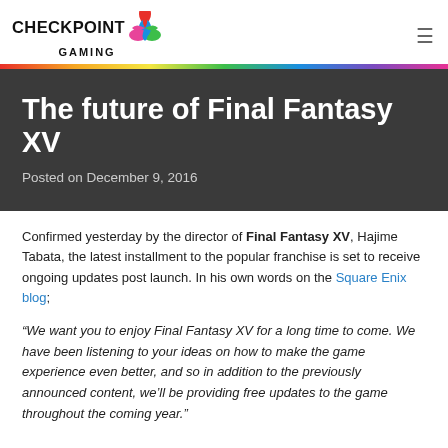CHECKPOINT GAMING
The future of Final Fantasy XV
Posted on December 9, 2016
Confirmed yesterday by the director of Final Fantasy XV, Hajime Tabata, the latest installment to the popular franchise is set to receive ongoing updates post launch. In his own words on the Square Enix blog;
“We want you to enjoy Final Fantasy XV for a long time to come. We have been listening to your ideas on how to make the game experience even better, and so in addition to the previously announced content, we’ll be providing free updates to the game throughout the coming year.”